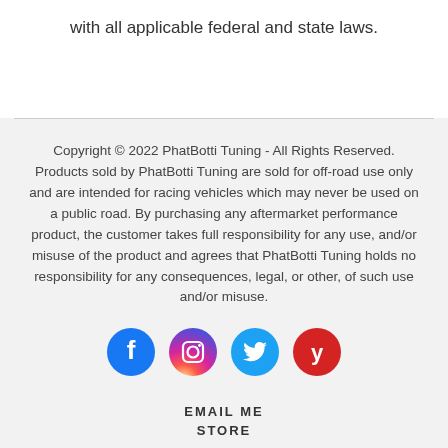with all applicable federal and state laws.
Copyright © 2022 PhatBotti Tuning - All Rights Reserved. Products sold by PhatBotti Tuning are sold for off-road use only and are intended for racing vehicles which may never be used on a public road. By purchasing any aftermarket performance product, the customer takes full responsibility for any use, and/or misuse of the product and agrees that PhatBotti Tuning holds no responsibility for any consequences, legal, or other, of such use and/or misuse.
[Figure (infographic): Four social media icons in circles: Facebook (blue), Instagram (pink/red gradient), Twitter (blue), Yelp (red)]
EMAIL ME
STORE